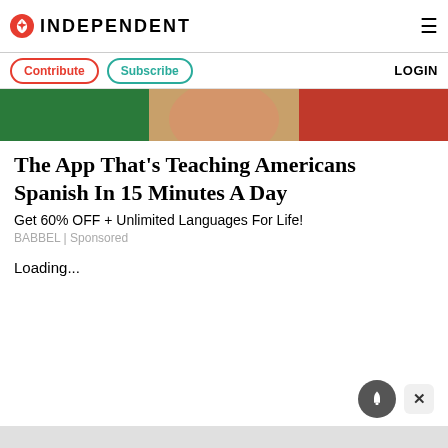INDEPENDENT
Contribute | Subscribe | LOGIN
[Figure (photo): Cropped photo of a woman's face with Italian flag colors (green, white, red) in the background]
The App That's Teaching Americans Spanish In 15 Minutes A Day
Get 60% OFF + Unlimited Languages For Life!
BABBEL | Sponsored
Loading...